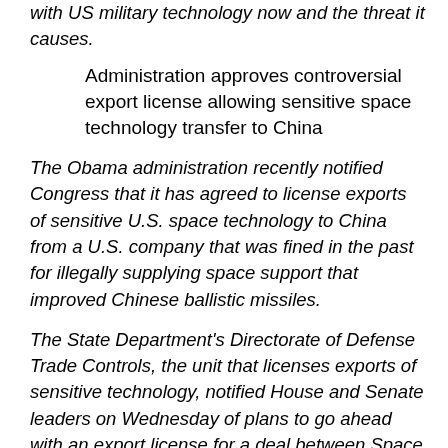with US military technology now and the threat it causes.
Administration approves controversial export license allowing sensitive space technology transfer to China
The Obama administration recently notified Congress that it has agreed to license exports of sensitive U.S. space technology to China from a U.S. company that was fined in the past for illegally supplying space support that improved Chinese ballistic missiles.
The State Department's Directorate of Defense Trade Controls, the unit that licenses exports of sensitive technology, notified House and Senate leaders on Wednesday of plans to go ahead with an export license for a deal between Space Systems/Loral and AsiaSat, a company owned in part by a Chinese state-run investment company linked to past satellite deals in the 1990s.